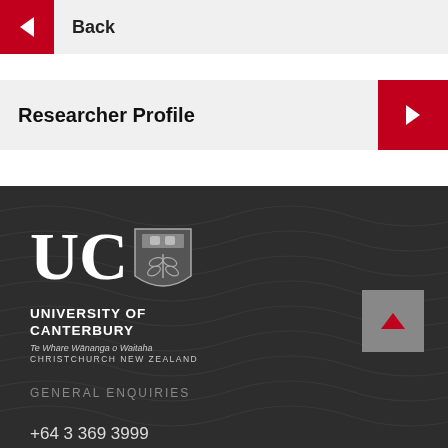Back
Researcher Profile
[Figure (logo): University of Canterbury logo — UC letters with shield crest, text: UNIVERSITY OF CANTERBURY, Te Whare Wānanga o Waitaha, CHRISTCHURCH NEW ZEALAND]
GENERAL ENQUIRIES
+64 3 369 3999
info@canterbury.ac.nz